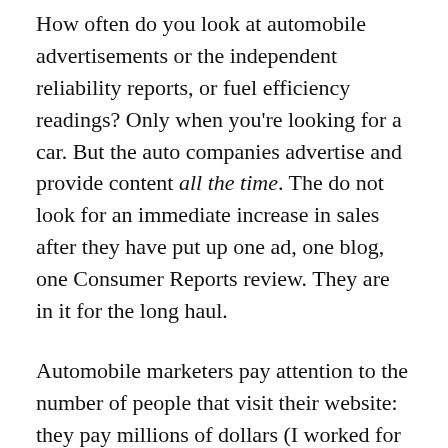How often do you look at automobile advertisements or the independent reliability reports, or fuel efficiency readings? Only when you're looking for a car. But the auto companies advertise and provide content all the time. The do not look for an immediate increase in sales after they have put up one ad, one blog, one Consumer Reports review. They are in it for the long haul.
Automobile marketers pay attention to the number of people that visit their website: they pay millions of dollars (I worked for such a company) to measure every click on every web page and every minute and second prospects spent on the smallest detail of the brand's